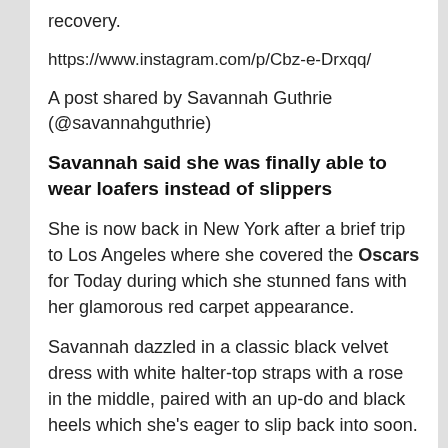recovery.
https://www.instagram.com/p/Cbz-e-Drxqq/
A post shared by Savannah Guthrie (@savannahguthrie)
Savannah said she was finally able to wear loafers instead of slippers
She is now back in New York after a brief trip to Los Angeles where she covered the Oscars for Today during which she stunned fans with her glamorous red carpet appearance.
Savannah dazzled in a classic black velvet dress with white halter-top straps with a rose in the middle, paired with an up-do and black heels which she’s eager to slip back into soon.
Read more HELLO! US stories here
Source: Read Full Article